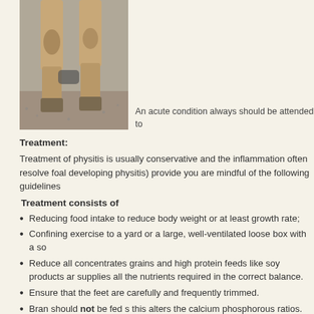[Figure (photo): Close-up photograph of horse legs from the knees down, showing hooves on a gravel/concrete surface.]
An acute condition always should be attended to
Treatment:
Treatment of physitis is usually conservative and the inflammation often resolve foal developing physitis) provide you are mindful of the following guidelines
Treatment consists of
Reducing food intake to reduce body weight or at least growth rate;
Confining exercise to a yard or a large, well-ventilated loose box with a so
Reduce all concentrates grains and high protein feeds like soy products ar supplies all the nutrients required in the correct balance.
Ensure that the feet are carefully and frequently trimmed.
Bran should not be fed s this alters the calcium phosphorous ratios.